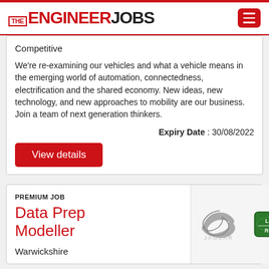THE ENGINEER JOBS
Competitive
We're re-examining our vehicles and what a vehicle means in the emerging world of automation, connectedness, electrification and the shared economy. New ideas, new technology, and new approaches to mobility are our business. Join a team of next generation thinkers.
Expiry Date : 30/08/2022
View details
PREMIUM JOB
Data Prep Modeller
Warwickshire
[Figure (logo): Jaguar and Land Rover logos side by side]